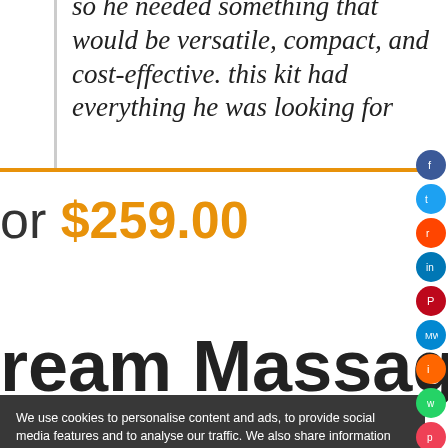so he needed something that would be versatile, compact, and cost-effective. this kit had everything he was looking for
or $259.00
ream Massage -
We use cookies to personalise content and ads, to provide social media features and to analyse our traffic. We also share information about your use of our site with our social media, advertising and analytics partners. View more
Cookies settings  ✓ Accept